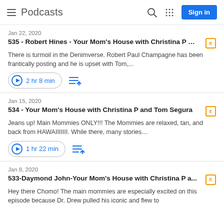Podcasts
Jan 22, 2020
535 - Robert Hines - Your Mom's House with Christina P … [E]
There is turmoil in the Denimverse. Robert Paul Champagne has been frantically posting and he is upset with Tom,...
2 hr 8 min
Jan 15, 2020
534 - Your Mom's House with Christina P and Tom Segura [E]
Jeans up! Main Mommies ONLY!!! The Mommies are relaxed, tan, and back from HAWAIIIIIII. While there, many stories...
1 hr 22 min
Jan 8, 2020
533-Daymond John-Your Mom's House with Christina P a... [E]
Hey there Chomo! The main mommies are especially excited on this episode because Dr. Drew pulled his iconic and flew to